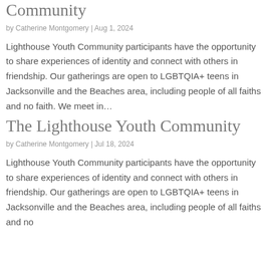Community
by Catherine Montgomery | Aug 1, 2024
Lighthouse Youth Community participants have the opportunity to share experiences of identity and connect with others in friendship. Our gatherings are open to LGBTQIA+ teens in Jacksonville and the Beaches area, including people of all faiths and no faith. We meet in…
The Lighthouse Youth Community
by Catherine Montgomery | Jul 18, 2024
Lighthouse Youth Community participants have the opportunity to share experiences of identity and connect with others in friendship. Our gatherings are open to LGBTQIA+ teens in Jacksonville and the Beaches area, including people of all faiths and no